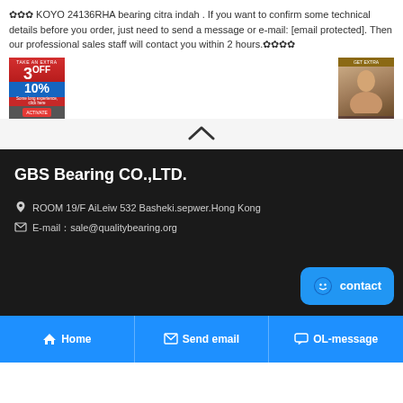✿✿✿ KOYO 24136RHA bearing citra indah . If you want to confirm some technical details before you order, just need to send a message or e-mail: [email protected]. Then our professional sales staff will contact you within 2 hours.✿✿✿✿
[Figure (advertisement): Two advertisement banners: left shows red/blue Take an Extra 3 OFF 10% discount ad; right shows brown ad with person photo]
[Figure (other): Upward chevron/caret icon in a light gray area]
GBS Bearing CO.,LTD.
ROOM 19/F AiLeiw 532 Basheki.sepwer.Hong Kong
E-mail：sale@qualitybearing.org
[Figure (other): Blue contact button with smiley face icon and 'contact' text]
Home   Send email   OL-message